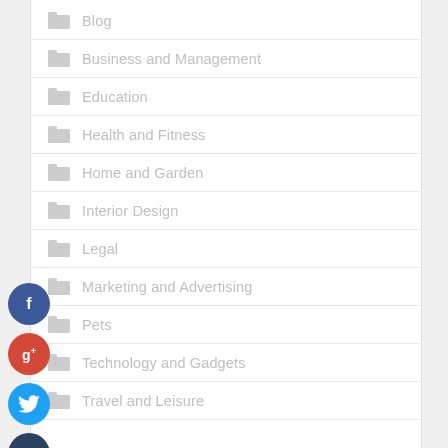Blog
Business and Management
Education
Health and Fitness
Home and Garden
Interior Design
Legal
Marketing and Advertising
Pets
Technology and Gadgets
Travel and Leisure